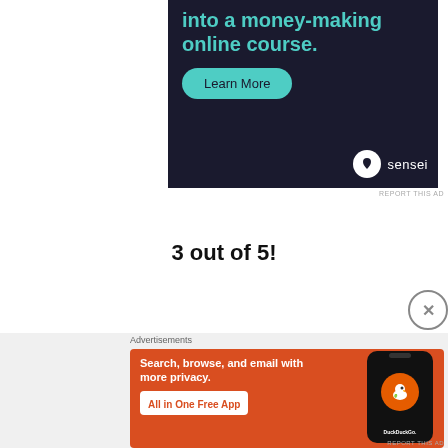[Figure (other): Advertisement banner with dark navy background showing partial text 'into a money-making online course.' with a teal 'Learn More' button and the Sensei logo (white circle with tree icon and 'sensei' text) in the bottom right.]
REPORT THIS AD
3 out of 5!
Advertisements
[Figure (other): DuckDuckGo advertisement banner with orange background showing text 'Search, browse, and email with more privacy. All in One Free App' with a phone mockup showing DuckDuckGo app icon on the right.]